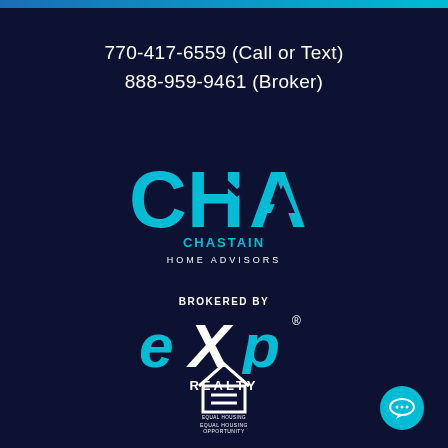770-417-6559 (Call or Text)
888-959-9461 (Broker)
[Figure (logo): CHA Chastain Home Advisors logo — large cyan letters C, H, A with a house roofline incorporated into the H, text CHASTAIN in bold cyan below, HOME ADVISORS in spaced white letters beneath]
[Figure (logo): eXp Realty logo — BROKERED BY in small white caps, large cyan lowercase eXp with registered trademark symbol, REALTY in white spaced caps below]
[Figure (logo): Equal Housing Opportunity logo — white house outline with equal sign, text EQUAL HOUSING OPPORTUNITY below]
[Figure (illustration): Cyan circular chat bubble button with three dots, bottom right corner]